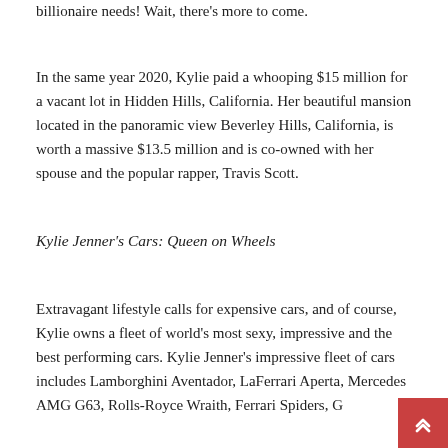billionaire needs! Wait, there's more to come.
In the same year 2020, Kylie paid a whooping $15 million for a vacant lot in Hidden Hills, California. Her beautiful mansion located in the panoramic view Beverley Hills, California, is worth a massive $13.5 million and is co-owned with her spouse and the popular rapper, Travis Scott.
Kylie Jenner's Cars: Queen on Wheels
Extravagant lifestyle calls for expensive cars, and of course, Kylie owns a fleet of world's most sexy, impressive and the best performing cars. Kylie Jenner's impressive fleet of cars includes Lamborghini Aventador, LaFerrari Aperta, Mercedes AMG G63, Rolls-Royce Wraith, Ferrari Spiders, G